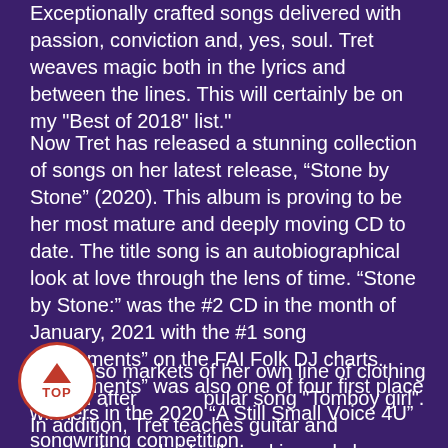Exceptionally crafted songs delivered with passion, conviction and, yes, soul. Tret weaves magic both in the lyrics and between the lines. This will certainly be on my "Best of 2018" list."
Now Tret has released a stunning collection of songs on her latest release, “Stone by Stone” (2020). This album is proving to be her most mature and deeply moving CD to date. The title song is an autobiographical look at love through the lens of time. “Stone by Stone:” was the #2 CD in the month of January, 2021 with the #1 song “Monuments” on the FAI Folk DJ charts. “Monuments” was also one of four first place winners in the 2020 “A Still Small Voice 4U” songwriting competition.
...also markets of her own line of clothing named after ...popular song "Tomboy girl". In addition, Tret teaches guitar and songwriting individually and in workshop
[Figure (other): A circular TOP navigation button with a red upward-pointing arrow and the word TOP in red, on a white background with a red border.]